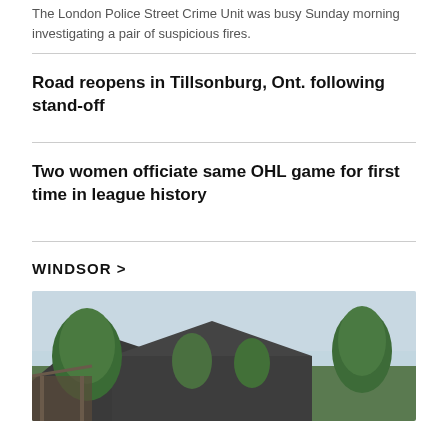The London Police Street Crime Unit was busy Sunday morning investigating a pair of suspicious fires.
Road reopens in Tillsonburg, Ont. following stand-off
Two women officiate same OHL game for first time in league history
WINDSOR >
[Figure (photo): Exterior photo of a residential house with a dark shingle roof, surrounded by green trees, under a light cloudy sky.]